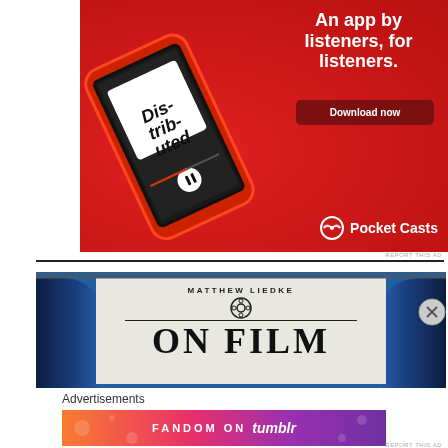[Figure (advertisement): Pocket Casts app advertisement on red background showing a smartphone with 'Distributed' podcast, text 'An app by listeners, for listeners.', a 'Download now' button, and the Pocket Casts logo at the bottom.]
[Figure (advertisement): Matthew Liedke On Film banner showing a theatre screen framed with blue curtains, displaying 'MATTHEW LIEDKE' in small caps above a film reel icon and 'ON FILM' in large serif letters.]
Advertisements
[Figure (advertisement): Fandom on Tumblr advertisement with colorful gradient background from orange to purple, displaying 'FANDOM ON tumblr' text with decorative doodles.]